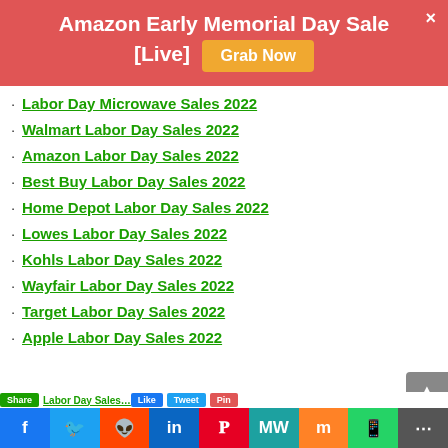Amazon Early Memorial Day Sale [Live]
Labor Day Microwave Sales 2022
Walmart Labor Day Sales 2022
Amazon Labor Day Sales 2022
Best Buy Labor Day Sales 2022
Home Depot Labor Day Sales 2022
Lowes Labor Day Sales 2022
Kohls Labor Day Sales 2022
Wayfair Labor Day Sales 2022
Target Labor Day Sales 2022
Apple Labor Day Sales 2022
Facebook | Twitter | Reddit | LinkedIn | Pinterest | MeWe | Mix | WhatsApp | More